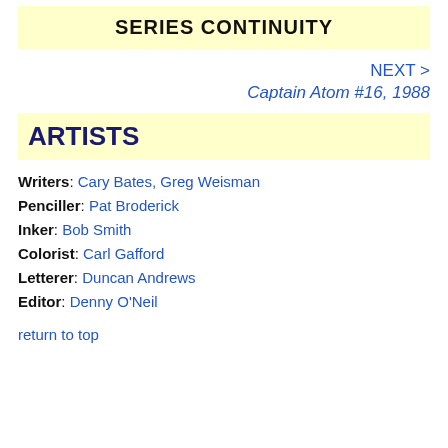SERIES CONTINUITY
NEXT >
Captain Atom #16, 1988
ARTISTS
Writers: Cary Bates, Greg Weisman
Penciller: Pat Broderick
Inker: Bob Smith
Colorist: Carl Gafford
Letterer: Duncan Andrews
Editor: Denny O'Neil
return to top